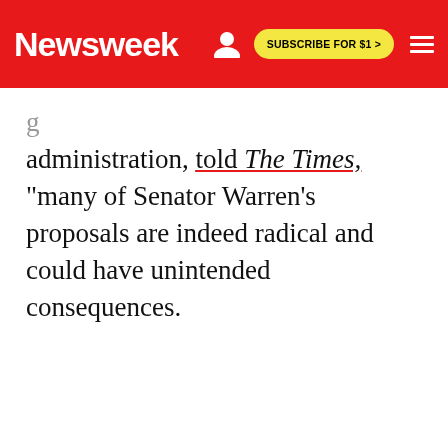Newsweek | SUBSCRIBE FOR $1 >
administration, told The Times, "many of Senator Warren's proposals are indeed radical and could have unintended consequences."